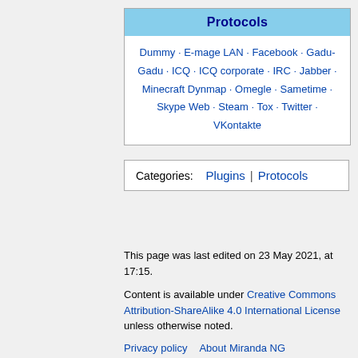| Protocols |
| --- |
| Dummy · E-mage LAN · Facebook · Gadu-Gadu · ICQ · ICQ corporate · IRC · Jabber · Minecraft Dynmap · Omegle · Sametime · Skype Web · Steam · Tox · Twitter · VKontakte |
| Categories:  Plugins | Protocols |
| --- |
This page was last edited on 23 May 2021, at 17:15.
Content is available under Creative Commons Attribution-ShareAlike 4.0 International License unless otherwise noted.
Privacy policy   About Miranda NG
Disclaimers
[Figure (logo): Creative Commons BY-SA license badge]
[Figure (logo): Powered by MediaWiki badge]